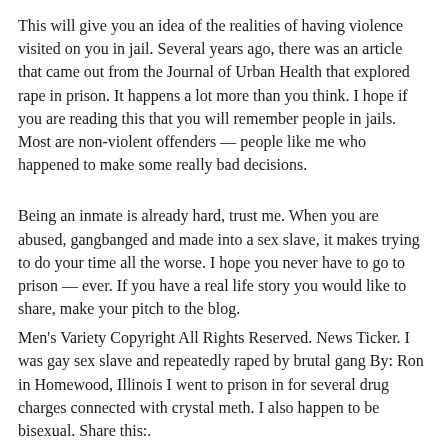This will give you an idea of the realities of having violence visited on you in jail. Several years ago, there was an article that came out from the Journal of Urban Health that explored rape in prison. It happens a lot more than you think. I hope if you are reading this that you will remember people in jails. Most are non-violent offenders — people like me who happened to make some really bad decisions.
Being an inmate is already hard, trust me. When you are abused, gangbanged and made into a sex slave, it makes trying to do your time all the worse. I hope you never have to go to prison — ever. If you have a real life story you would like to share, make your pitch to the blog.
Men's Variety Copyright All Rights Reserved. News Ticker. I was gay sex slave and repeatedly raped by brutal gang By: Ron in Homewood, Illinois I went to prison in for several drug charges connected with crystal meth. I also happen to be bisexual. Share this:.
Male prison sex stories
Read taboo books online free.
Fachintone little internation